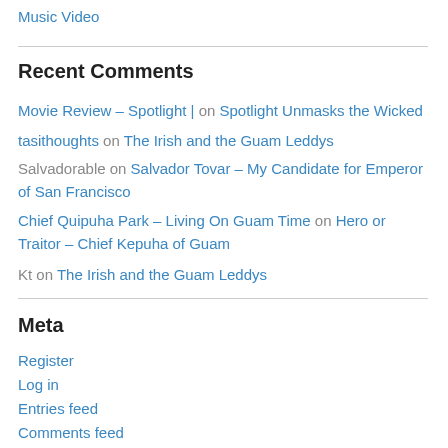Music Video
Recent Comments
Movie Review – Spotlight | on Spotlight Unmasks the Wicked
tasithoughts on The Irish and the Guam Leddys
Salvadorable on Salvador Tovar – My Candidate for Emperor of San Francisco
Chief Quipuha Park – Living On Guam Time on Hero or Traitor – Chief Kepuha of Guam
Kt on The Irish and the Guam Leddys
Meta
Register
Log in
Entries feed
Comments feed